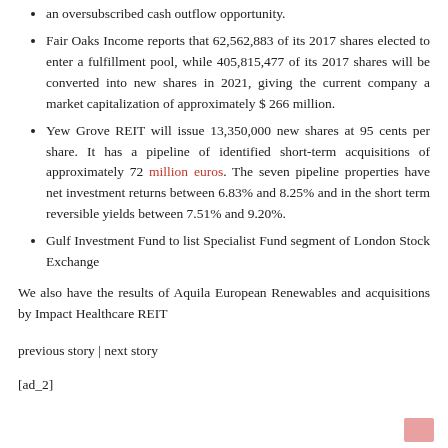an oversubscribed cash outflow opportunity.
Fair Oaks Income reports that 62,562,883 of its 2017 shares elected to enter a fulfillment pool, while 405,815,477 of its 2017 shares will be converted into new shares in 2021, giving the current company a market capitalization of approximately $ 266 million.
Yew Grove REIT will issue 13,350,000 new shares at 95 cents per share. It has a pipeline of identified short-term acquisitions of approximately 72 million euros. The seven pipeline properties have net investment returns between 6.83% and 8.25% and in the short term reversible yields between 7.51% and 9.20%.
Gulf Investment Fund to list Specialist Fund segment of London Stock Exchange
We also have the results of Aquila European Renewables and acquisitions by Impact Healthcare REIT
previous story | next story
[ad_2]